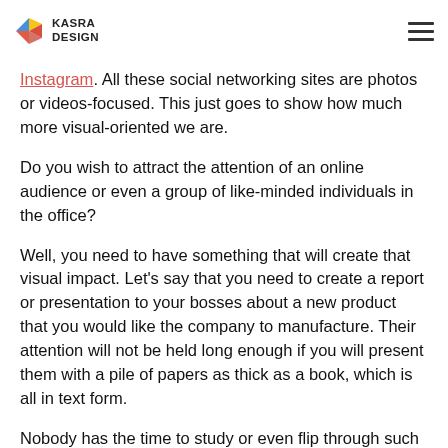KASRA DESIGN
Instagram. All these social networking sites are photos or videos-focused. This just goes to show how much more visual-oriented we are.
Do you wish to attract the attention of an online audience or even a group of like-minded individuals in the office?
Well, you need to have something that will create that visual impact. Let’s say that you need to create a report or presentation to your bosses about a new product that you would like the company to manufacture. Their attention will not be held long enough if you will present them with a pile of papers as thick as a book, which is all in text form.
Nobody has the time to study or even flip through such materials. But if you will show a three or five-minute video which presents what your proposed